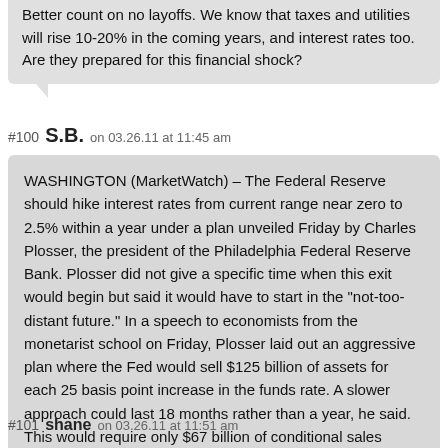Better count on no layoffs. We know that taxes and utilities will rise 10-20% in the coming years, and interest rates too. Are they prepared for this financial shock?
#100 S.B. on 03.26.11 at 11:45 am
WASHINGTON (MarketWatch) – The Federal Reserve should hike interest rates from current range near zero to 2.5% within a year under a plan unveiled Friday by Charles Plosser, the president of the Philadelphia Federal Reserve Bank. Plosser did not give a specific time when this exit would begin but said it would have to start in the "not-too-distant future." In a speech to economists from the monetarist school on Friday, Plosser laid out an aggressive plan where the Fed would sell $125 billion of assets for each 25 basis point increase in the funds rate. A slower approach could last 18 months rather than a year, he said. This would require only $67 billion of conditional sales between meetings but the funds rate would rise to 3.5%. Plosser, a voting FOMC member this year, said he did not think this strategy would disrupt markets.
#101 shane on 03.26.11 at 11:51 am